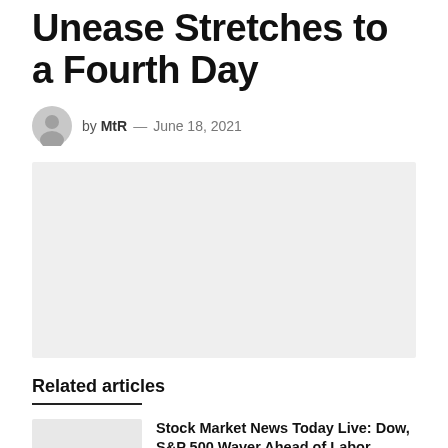Unease Stretches to a Fourth Day
by MtR — June 18, 2021
[Figure (photo): Large light grey placeholder image for article illustration]
Related articles
[Figure (photo): Small thumbnail image placeholder for related article]
Stock Market News Today Live: Dow, S&P 500 Waver Ahead of Labor Costs, Earnings – The